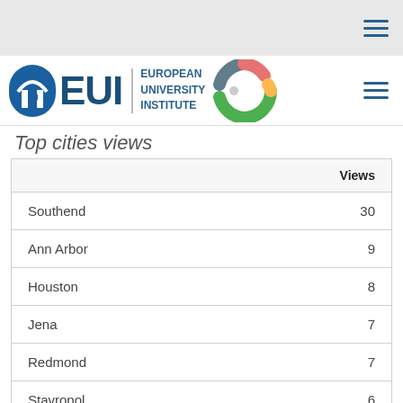[Figure (logo): EUI European University Institute logo with blue arch building icon, EUI text, and colorful C-shaped arc graphic]
Top cities views
|  | Views |
| --- | --- |
| Southend | 30 |
| Ann Arbor | 9 |
| Houston | 8 |
| Jena | 7 |
| Redmond | 7 |
| Stavropol | 6 |
| Jacksonville | 5 |